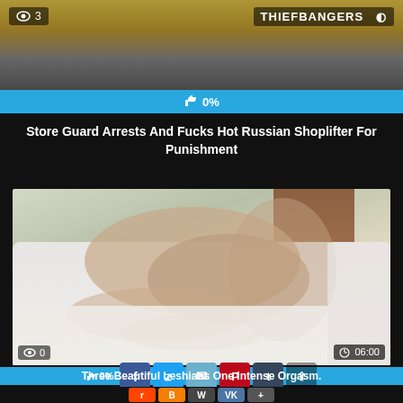[Figure (screenshot): Top video thumbnail with yellow background and view count overlay showing 3 views, ThiefBangers brand logo top right]
👁 3
THIEFBANGERS
👍 0%
Store Guard Arrests And Fucks Hot Russian Shoplifter For Punishment
[Figure (photo): Two women on a white sofa, intimate pose, with duration 06:00 and 0 views overlay]
👁 0
⏱06:00
👍 0%
Three Beautiful Leshians One Intense Orgasm.
f  t  ✉  P  t  ∧  reddit  B  W  VK  +